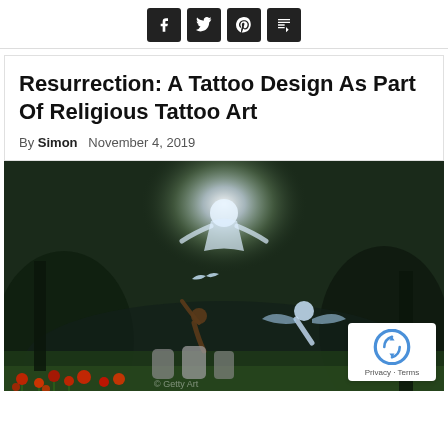[Figure (other): Social sharing icons bar with Facebook, Twitter, Pinterest, and Mix icons on dark square backgrounds]
Resurrection: A Tattoo Design As Part Of Religious Tattoo Art
By Simon   November 4, 2019
[Figure (photo): A dramatic religious digital artwork showing a glowing Christ figure ascending in clouds above a cemetery scene with an angel figure and red poppies in the foreground. A reCAPTCHA badge is overlaid in the bottom right corner.]